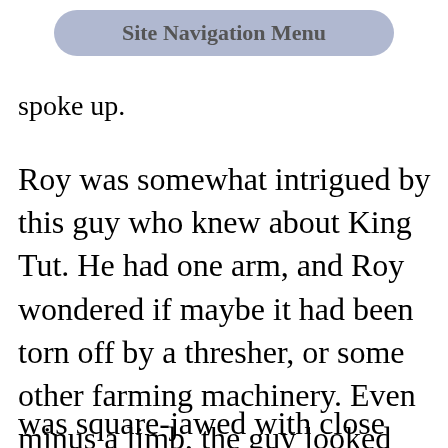[Figure (screenshot): Site Navigation Menu button overlay — rounded rectangle with muted blue-grey background and bold grey text reading 'Site Navigation Menu']
spoke up.
Roy was somewhat intrigued by this guy who knew about King Tut. He had one arm, and Roy wondered if maybe it had been torn off by a thresher, or some other farming machinery. Even minus a limb, the guy looked rather formidable. He
was square-jawed with close